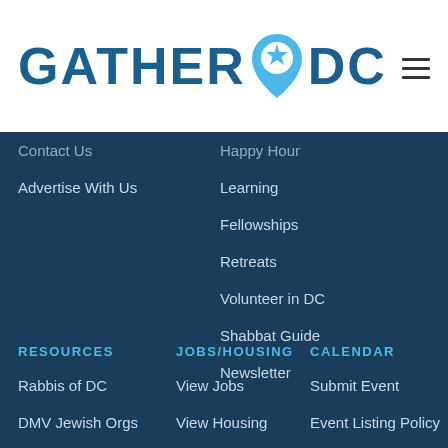[Figure (logo): GatherDC logo with blue text and Star of David location pin icon]
Contact Us
Advertise With Us
Happy Hour
Learning
Fellowships
Retreats
Volunteer in DC
Shabbat Guide
Newsletter
RESOURCES
JOBS/HOUSING
CALENDAR
Rabbis of DC
View Jobs
Submit Event
DMV Jewish Orgs
View Housing
Event Listing Policy
Kosher Food Finder
Place Your Ad